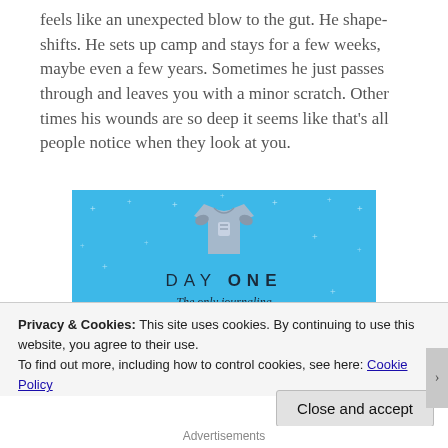feels like an unexpected blow to the gut. He shape-shifts. He sets up camp and stays for a few weeks, maybe even a few years. Sometimes he just passes through and leaves you with a minor scratch. Other times his wounds are so deep it seems like that's all people notice when they look at you.
[Figure (illustration): DAY ONE app advertisement on a blue background with stars/sparkles, showing a figure holding a phone/tablet over a t-shirt graphic, with the tagline 'The only journaling app you'll ever need.' and a 'Get the app' button.]
Privacy & Cookies: This site uses cookies. By continuing to use this website, you agree to their use.
To find out more, including how to control cookies, see here: Cookie Policy
Close and accept
Advertisements